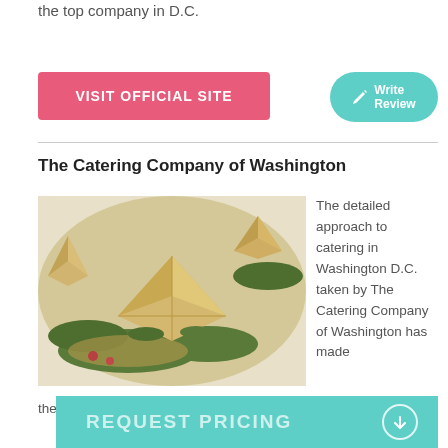the top company in D.C.
VISIT OFFICIAL SITE
Write Review
The Catering Company of Washington
[Figure (photo): Close-up photo of appetizers — folded wonton/dumpling shapes on green herbs and sauce on white plates]
The detailed approach to catering in Washington D.C. taken by The Catering Company of Washington has made
the
REQUEST PRICING